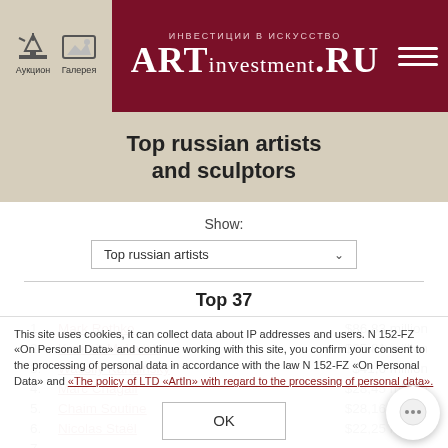ART INVESTMENT.RU — Аукцион | Галерея
Top russian artists and sculptors
Show:
Top russian artists
Top 37
1. Mark Rothko — $86,83 million
2. Kazimir Malevich — $85,81 million
3. Wassily Kandinsky — $41,6 million
4. Marc Chagall — $28,45 million
5. Chaim Soutine — $28,16 million
6. Nicolas Staël — $22,25 million
11. Kuzma Petrov-Vodkin
12. Natalia Goncharova
13. Nicolai Fechin — $10,84 million
This site uses cookies, it can collect data about IP addresses and users. N 152-FZ «On Personal Data» and continue working with this site, you confirm your consent to the processing of personal data in accordance with the law N 152-FZ «On Personal Data» and «The policy of LTD «ArtIn» with regard to the processing of personal data».
OK